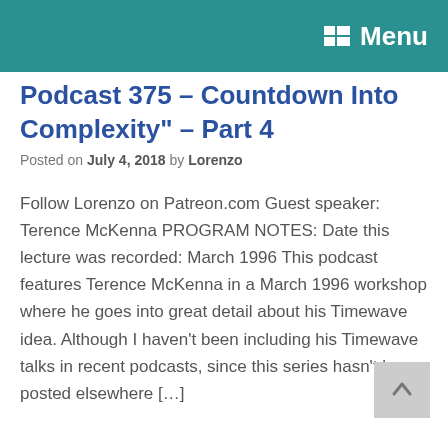Menu
Podcast 375 – "Countdown Into Complexity" – Part 4
Posted on July 4, 2018 by Lorenzo
Follow Lorenzo on Patreon.com Guest speaker: Terence McKenna PROGRAM NOTES: Date this lecture was recorded: March 1996 This podcast features Terence McKenna in a March 1996 workshop where he goes into great detail about his Timewave idea. Although I haven't been including his Timewave talks in recent podcasts, since this series hasn't been posted elsewhere […]